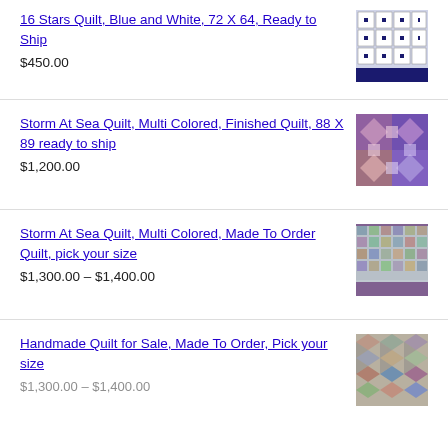16 Stars Quilt, Blue and White, 72 X 64, Ready to Ship
$450.00
Storm At Sea Quilt, Multi Colored, Finished Quilt, 88 X 89 ready to ship
$1,200.00
Storm At Sea Quilt, Multi Colored, Made To Order Quilt, pick your size
$1,300.00 – $1,400.00
Handmade Quilt for Sale, Made To Order, Pick your size
$1,300.00 – $1,400.00